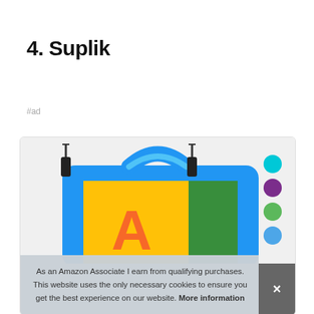4. Suplik
#ad
[Figure (photo): Blue kids tablet case (Suplik brand) with handle and shoulder strap clips, showing a colorful screen with abstract design, and four color swatches (cyan, purple, green, blue) on the right side]
As an Amazon Associate I earn from qualifying purchases. This website uses the only necessary cookies to ensure you get the best experience on our website. More information